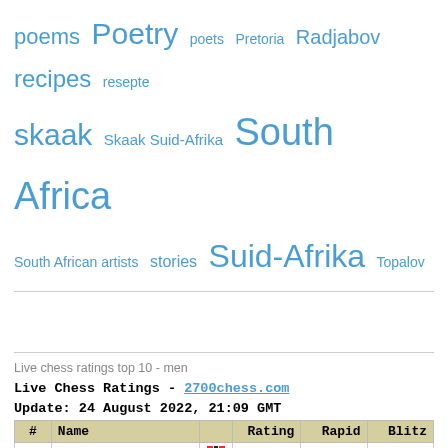[Figure (other): Tag cloud with terms: poems, Poetry, poets, Pretoria, Radjabov, recipes, resepte, skaak, Skaak Suid-Afrika, South Africa, South African artists, stories, Suid-Afrika, Topalov — all in blue, varying sizes]
Live chess ratings top 10 - men
Live Chess Ratings - 2700chess.com
Update: 24 August 2022, 21:09 GMT
| # | Name |  | Rating | Rapid | Blitz |
| --- | --- | --- | --- | --- | --- |
| 1 | Carlsen | [NO] | 2861.0 | 2834.0 | 2830.0 |
| 2 | Ding Liren | [CN] | 2808.0 | 2836 i | 2788 i |
| 3 | Nepomniachtch | [FIDE] | 2792.0 | 2795.0 | 2791.0 |
| 4 | Firouzja | [FR] | 2778.0 | 2704.0 | 2795.0 |
| 5 | So | [US] | 2771.0 | 2784.0 | 2763.0 |
| 6 | Nakamura | [US] | 2768.0 | 2837.0 | 2850.0 |